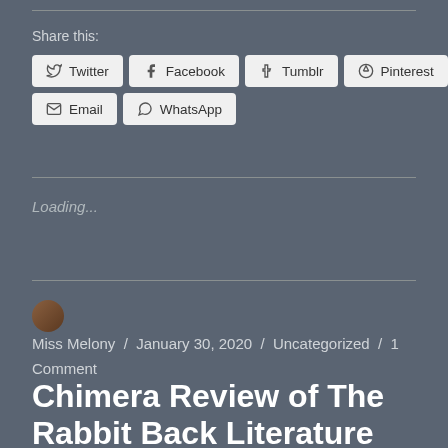Share this:
Twitter  Facebook  Tumblr  Pinterest  Email  WhatsApp
Loading...
Miss Melony / January 30, 2020 / Uncategorized / 1 Comment
Chimera Review of The Rabbit Back Literature